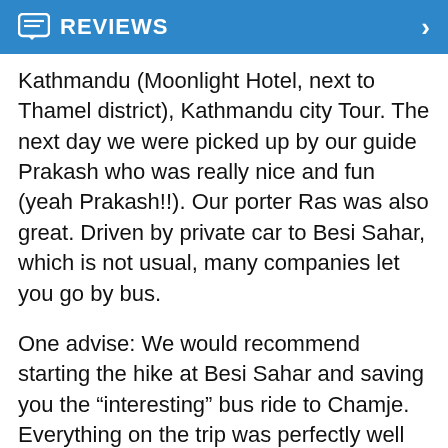REVIEWS
Kathmandu (Moonlight Hotel, next to Thamel district), Kathmandu city Tour. The next day we were picked up by our guide Prakash who was really nice and fun (yeah Prakash!!). Our porter Ras was also great. Driven by private car to Besi Sahar, which is not usual, many companies let you go by bus.
One advise: We would recommend starting the hike at Besi Sahar and saving you the “interesting” bus ride to Chamje.
Everything on the trip was perfectly well organized. In fact, we had the impression we always got the nicest rooms at the guesthouses. Food included plus we always got fresh fruit for desert which they carried for us all the way.
Had no problems with altitude sickness thanks to